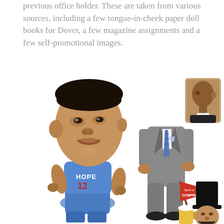previous office holder. These are taken from various sources, including a few tongue-in-cheek paper doll books for Dover, a few magazine assignments and a few self-promotional images.
[Figure (illustration): Collection of caricature illustrations of Barack Obama: a large-headed caricature in a blue basketball jersey reading 'HOPE 12'; a headless paper doll suit with a blue tie; a painted portrait profile view; a figure holding a 'Spirit of Compromise' pennant with a beer mug; and a figure dressed as Abraham Lincoln with a top hat.]